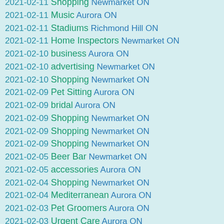2021-02-11 Shopping Newmarket ON
2021-02-11 Music Aurora ON
2021-02-11 Stadiums Richmond Hill ON
2021-02-11 Home Inspectors Newmarket ON
2021-02-10 business Aurora ON
2021-02-10 advertising Newmarket ON
2021-02-10 Shopping Newmarket ON
2021-02-09 Pet Sitting Aurora ON
2021-02-09 bridal Aurora ON
2021-02-09 Shopping Newmarket ON
2021-02-09 Shopping Newmarket ON
2021-02-09 Shopping Newmarket ON
2021-02-05 Beer Bar Newmarket ON
2021-02-05 accessories Aurora ON
2021-02-04 Shopping Newmarket ON
2021-02-04 Mediterranean Aurora ON
2021-02-03 Pet Groomers Aurora ON
2021-02-03 Urgent Care Aurora ON
2021-02-01 automotive Aurora ON
2021-02-01 Business Aurora ON
2021-02-01 Product Design King City ON
2021-02-01 Jewelry Aurora ON
2021-02-01 Food Trucks Newmarket ON